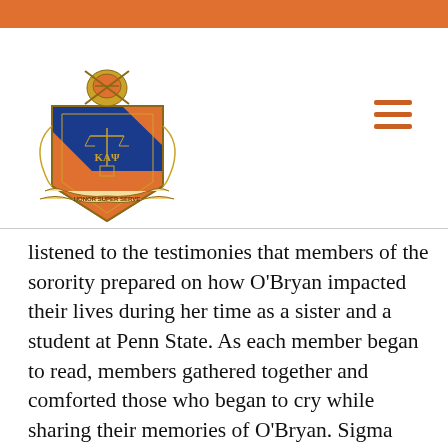[Figure (logo): Fraternity/sorority crest or shield logo with orange and blue colors, featuring a knight helmet on top, scrolls, and text reading HONOR, SUPER, SERVE]
listened to the testimonies that members of the sorority prepared on how O'Bryan impacted their lives during her time as a sister and a student at Penn State. As each member began to read, members gathered together and comforted those who began to cry while sharing their memories of O'Bryan. Sigma Delta Tau member Ashleigh Burns said O'Bryan was happy every day and had a positive outlook on life. She said she remembers how Courtney never